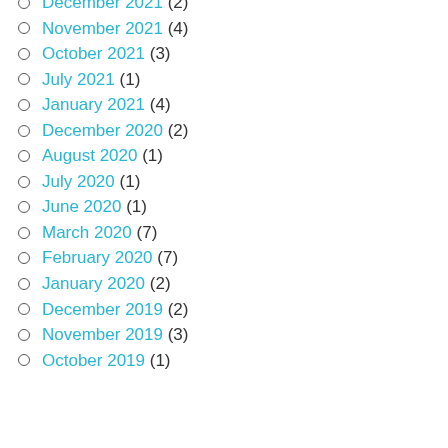December 2021 (2)
November 2021 (4)
October 2021 (3)
July 2021 (1)
January 2021 (4)
December 2020 (2)
August 2020 (1)
July 2020 (1)
June 2020 (1)
March 2020 (7)
February 2020 (7)
January 2020 (2)
December 2019 (2)
November 2019 (3)
October 2019 (1)